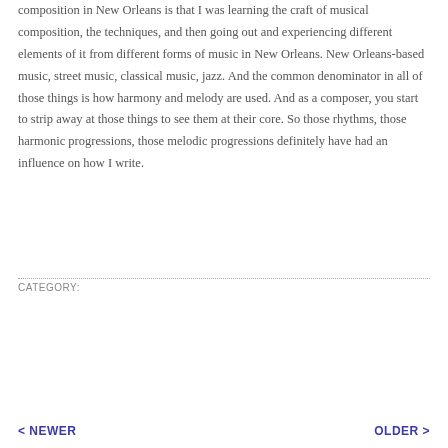composition in New Orleans is that I was learning the craft of musical composition, the techniques, and then going out and experiencing different elements of it from different forms of music in New Orleans. New Orleans-based music, street music, classical music, jazz. And the common denominator in all of those things is how harmony and melody are used. And as a composer, you start to strip away at those things to see them at their core. So those rhythms, those harmonic progressions, those melodic progressions definitely have had an influence on how I write.
CATEGORY:
Interview
< NEWER    OLDER >